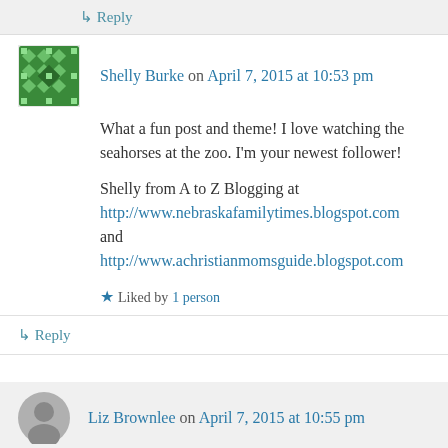↳ Reply
Shelly Burke on April 7, 2015 at 10:53 pm
What a fun post and theme! I love watching the seahorses at the zoo. I'm your newest follower!
Shelly from A to Z Blogging at http://www.nebraskafamilytimes.blogspot.com and http://www.achristianmomsguide.blogspot.com
★ Liked by 1 person
↳ Reply
Liz Brownlee on April 7, 2015 at 10:55 pm